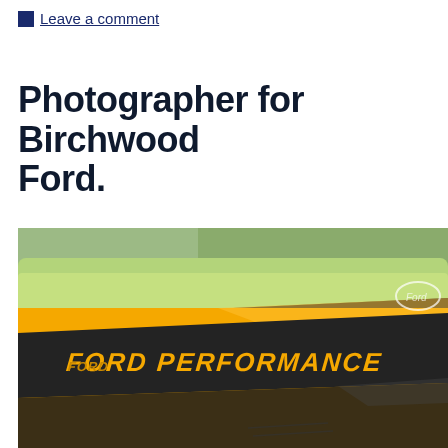Leave a comment
Photographer for Birchwood Ford.
[Figure (photo): Close-up photograph of a yellow Ford Performance car's windshield/roof area with 'FORD PERFORMANCE' text on a dark stripe, with a green car visible in the background.]